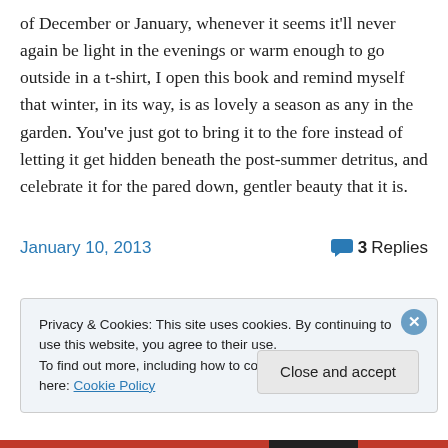of December or January, whenever it seems it'll never again be light in the evenings or warm enough to go outside in a t-shirt, I open this book and remind myself that winter, in its way, is as lovely a season as any in the garden. You've just got to bring it to the fore instead of letting it get hidden beneath the post-summer detritus, and celebrate it for the pared down, gentler beauty that it is.
January 10, 2013    3 Replies
Privacy & Cookies: This site uses cookies. By continuing to use this website, you agree to their use.
To find out more, including how to control cookies, see here: Cookie Policy